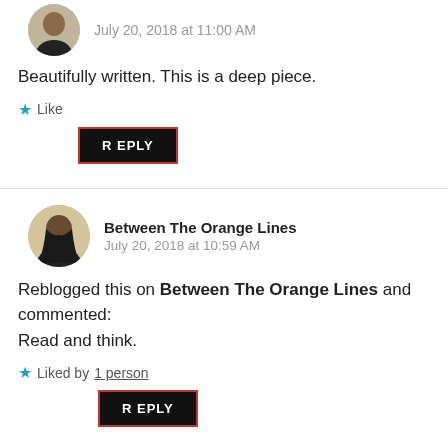[Figure (photo): Small circular avatar of a person (partial, top of page)]
July 20, 2018 at 11:00 AM
Beautifully written. This is a deep piece.
Like
REPLY
[Figure (photo): Circular avatar of a person with long hair]
Between The Orange Lines
July 20, 2018 at 10:59 AM
Reblogged this on Between The Orange Lines and commented:
Read and think.
Liked by 1 person
REPLY
[Figure (photo): Partial circular avatar at the bottom of the page]